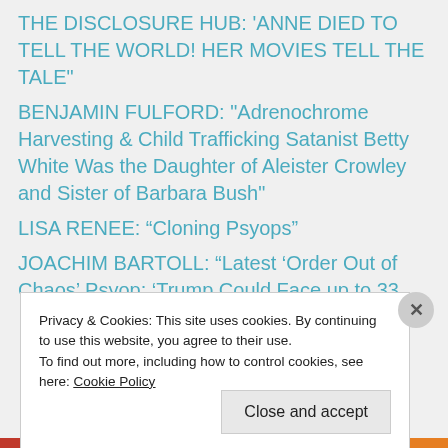THE DISCLOSURE HUB: 'ANNE DIED TO TELL THE WORLD! HER MOVIES TELL THE TALE"
BENJAMIN FULFORD: "Adrenochrome Harvesting & Child Trafficking Satanist Betty White Was the Daughter of Aleister Crowley and Sister of Barbara Bush"
LISA RENEE: “Cloning Psyops”
JOACHIM BARTOLL: “Latest ‘Order Out of Chaos’ Psyop: ‘Trump Could Face up to 33
Privacy & Cookies: This site uses cookies. By continuing to use this website, you agree to their use.
To find out more, including how to control cookies, see here: Cookie Policy